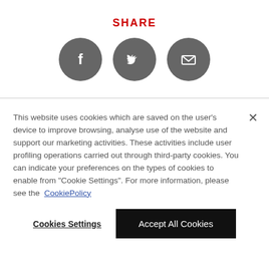SHARE
[Figure (illustration): Three circular dark grey social share buttons: Facebook (f), Twitter (bird), and Email (envelope)]
This website uses cookies which are saved on the user's device to improve browsing, analyse use of the website and support our marketing activities. These activities include user profiling operations carried out through third-party cookies. You can indicate your preferences on the types of cookies to enable from "Cookie Settings". For more information, please see the CookiePolicy
Cookies Settings
Accept All Cookies